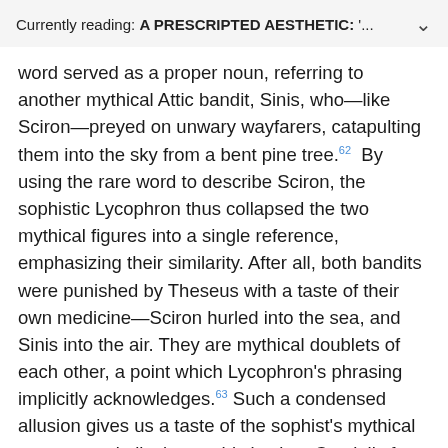Currently reading: A PRESCRIPTED AESTHETIC: '…
word served as a proper noun, referring to another mythical Attic bandit, Sinis, who—like Sciron—preyed on unwary wayfarers, catapulting them into the sky from a bent pine tree.62 By using the rare word to describe Sciron, the sophistic Lycophron thus collapsed the two mythical figures into a single reference, emphasizing their similarity. After all, both bandits were punished by Theseus with a taste of their own medicine—Sciron hurled into the sea, and Sinis into the air. They are mythical doublets of each other, a point which Lycophron's phrasing implicitly acknowledges.63 Such a condensed allusion gives us a taste of the sophist's mythical mastery and allusive sophistication. Crucially for our purposes, however, this onomastic blurring is also a familiar feature of Lycophron's Alexandra, in which characters are often figuratively